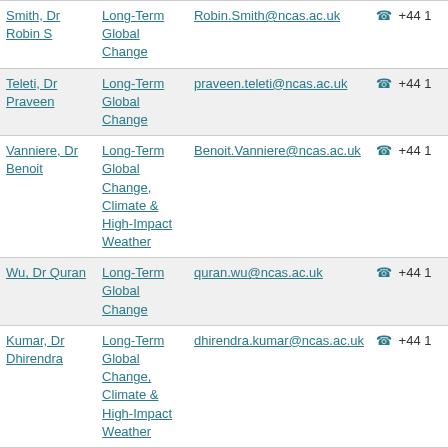| Name | Department | Email | Phone |
| --- | --- | --- | --- |
| Smith, Dr Robin S | Long-Term Global Change | Robin.Smith@ncas.ac.uk | ☎ +44 1 |
| Teleti, Dr Praveen | Long-Term Global Change | praveen.teleti@ncas.ac.uk | ☎ +44 1 |
| Vanniere, Dr Benoit | Long-Term Global Change, Climate & High-Impact Weather | Benoit.Vanniere@ncas.ac.uk | ☎ +44 1 |
| Wu, Dr Quran | Long-Term Global Change | quran.wu@ncas.ac.uk | ☎ +44 1 |
| Kumar, Dr Dhirendra | Long-Term Global Change, Climate & High-Impact Weather | dhirendra.kumar@ncas.ac.uk | ☎ +44 1 |